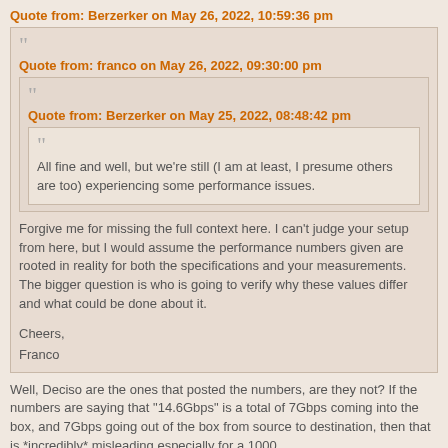Quote from: Berzerker on May 26, 2022, 10:59:36 pm
Quote from: franco on May 26, 2022, 09:30:00 pm
Quote from: Berzerker on May 25, 2022, 08:48:42 pm
All fine and well, but we're still (I am at least, I presume others are too) experiencing some performance issues.
Forgive me for missing the full context here. I can't judge your setup from here, but I would assume the performance numbers given are rooted in reality for both the specifications and your measurements. The bigger question is who is going to verify why these values differ and what could be done about it.
Cheers,
Franco
Well, Deciso are the ones that posted the numbers, are they not? If the numbers are saying that "14.6Gbps" is a total of 7Gbps coming into the box, and 7Gbps going out of the box from source to destination, then that is *incredibly* misleading especially for a 1000